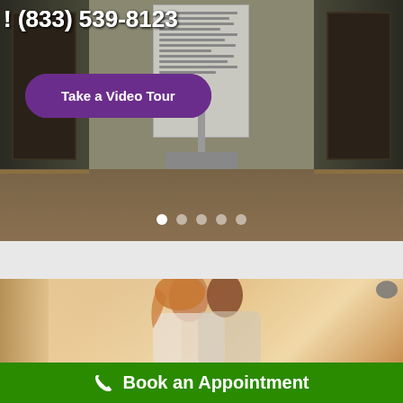[Figure (photo): Interior hallway/office room with a banner stand/display board in center, wooden doors on sides, wood-tone flooring, with phone number and video tour button overlay]
! (833) 539-8123
Take a Video Tour
[Figure (photo): Couple embracing/kissing, warm natural light from window, indoor setting]
Book an Appointment